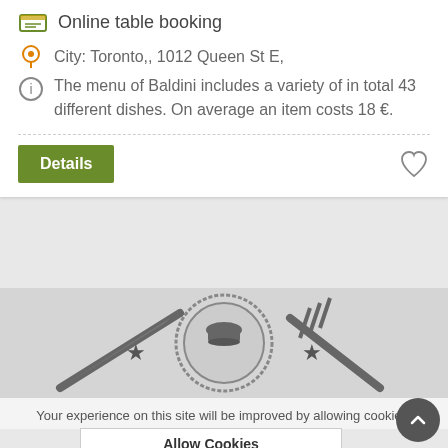Online table booking
City:  Toronto,, 1012 Queen St E,
The menu of Baldini includes a variety of in total 43 different dishes. On average an item costs 18 €.
[Figure (illustration): Restaurant logo with chef hat, knife, fork, and stars on grey background]
Your experience on this site will be improved by allowing cookies.
Allow Cookies